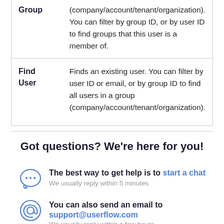|  |  |
| --- | --- |
| Group | (company/account/tenant/organization). You can filter by group ID, or by user ID to find groups that this user is a member of. |
| Find User | Finds an existing user. You can filter by user ID or email, or by group ID to find all users in a group (company/account/tenant/organization). |
Got questions? We're here for you!
The best way to get help is to start a chat. We usually reply within 5 minutes
You can also send an email to support@userflow.com. We usually reply within a few hours